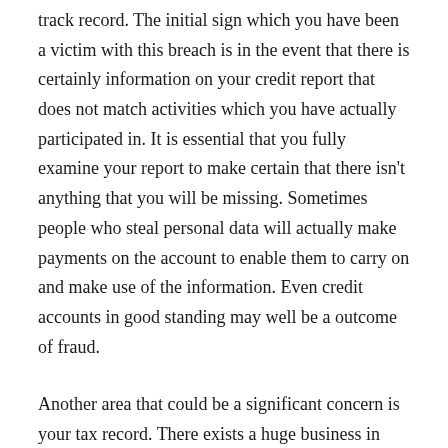track record. The initial sign which you have been a victim with this breach is in the event that there is certainly information on your credit report that does not match activities which you have actually participated in. It is essential that you fully examine your report to make certain that there isn't anything that you will be missing. Sometimes people who steal personal data will actually make payments on the account to enable them to carry on and make use of the information. Even credit accounts in good standing may well be a outcome of fraud.
Another area that could be a significant concern is your tax record. There exists a huge business in america that revolves around selling people's social security number and other personal data to those that need it in order to obtain employment. This will cause havoc to suit your